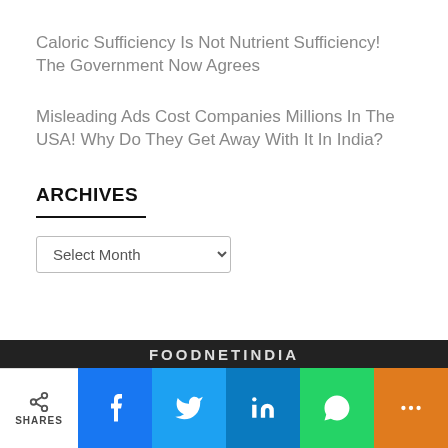Caloric Sufficiency Is Not Nutrient Sufficiency! The Government Now Agrees
Misleading Ads Cost Companies Millions In The USA! Why Do They Get Away With It In India?
ARCHIVES
Select Month
FOODNETINDIA